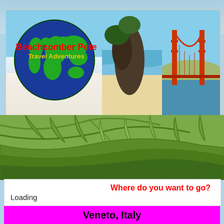[Figure (illustration): Beachcomber Pete Travel Adventures banner with globe logo, beach photo, and Golden Gate Bridge photo]
[Figure (photo): Palm fronds close-up background photo]
Where do you want to go?
Loading
Veneto, Italy